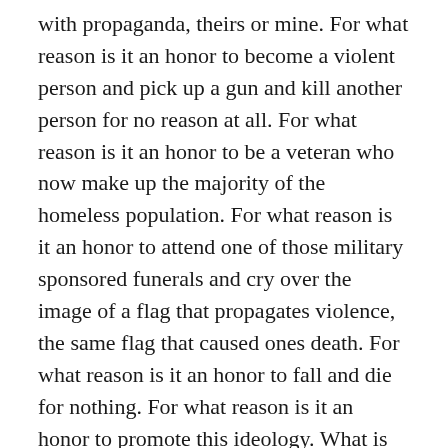with propaganda, theirs or mine. For what reason is it an honor to become a violent person and pick up a gun and kill another person for no reason at all. For what reason is it an honor to be a veteran who now make up the majority of the homeless population. For what reason is it an honor to attend one of those military sponsored funerals and cry over the image of a flag that propagates violence, the same flag that caused ones death. For what reason is it an honor to fall and die for nothing. For what reason is it an honor to promote this ideology. What is heroic about all of this? And why does the word “Patriot”